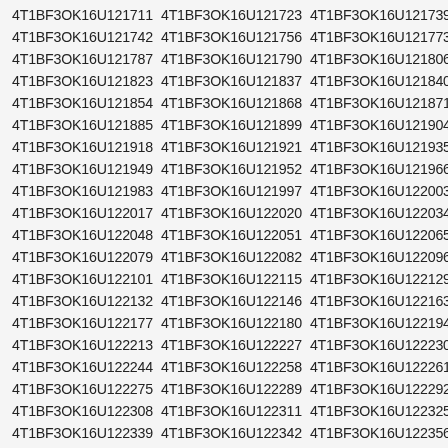4T1BF3OK16U121711 4T1BF3OK16U121723 4T1BF3OK16U121739 4T1BF3OK16U121742 4T1BF3OK16U121756 4T1BF3OK16U121773 4T1BF3OK16U121787 4T1BF3OK16U121790 4T1BF3OK16U121806 4T1BF3OK16U121823 4T1BF3OK16U121837 4T1BF3OK16U121840 4T1BF3OK16U121854 4T1BF3OK16U121868 4T1BF3OK16U121871 4T1BF3OK16U121885 4T1BF3OK16U121899 4T1BF3OK16U121904 4T1BF3OK16U121918 4T1BF3OK16U121921 4T1BF3OK16U121935 4T1BF3OK16U121949 4T1BF3OK16U121952 4T1BF3OK16U121966 4T1BF3OK16U121983 4T1BF3OK16U121997 4T1BF3OK16U122003 4T1BF3OK16U122017 4T1BF3OK16U122020 4T1BF3OK16U122034 4T1BF3OK16U122048 4T1BF3OK16U122051 4T1BF3OK16U122065 4T1BF3OK16U122079 4T1BF3OK16U122082 4T1BF3OK16U122096 4T1BF3OK16U122101 4T1BF3OK16U122115 4T1BF3OK16U122129 4T1BF3OK16U122132 4T1BF3OK16U122146 4T1BF3OK16U122163 4T1BF3OK16U122177 4T1BF3OK16U122180 4T1BF3OK16U122194 4T1BF3OK16U122213 4T1BF3OK16U122227 4T1BF3OK16U122230 4T1BF3OK16U122244 4T1BF3OK16U122258 4T1BF3OK16U122261 4T1BF3OK16U122275 4T1BF3OK16U122289 4T1BF3OK16U122292 4T1BF3OK16U122308 4T1BF3OK16U122311 4T1BF3OK16U122325 4T1BF3OK16U122339 4T1BF3OK16U122342 4T1BF3OK16U122356 4T1BF3OK16U122373 4T1BF3OK16U122387 4T1BF3OK16U122390 4T1BF3OK16U122406 4T1BF3OK16U122423 4T1BF3OK16U122437 4T1BF3OK16U122440 4T1BF3OK16U122454 4T1BF3OK16U122468